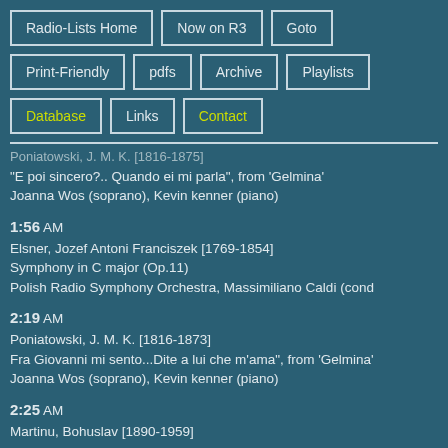Radio-Lists Home
Now on R3
Goto
Print-Friendly
pdfs
Archive
Playlists
Database
Links
Contact
Poniatowski, J. M. K. [1816-1875]
"E poi sincero?.. Quando ei mi parla", from 'Gelmina'
Joanna Wos (soprano), Kevin kenner (piano)
1:56 AM
Elsner, Jozef Antoni Franciszek [1769-1854]
Symphony in C major (Op.11)
Polish Radio Symphony Orchestra, Massimiliano Caldi (cond
2:19 AM
Poniatowski, J. M. K. [1816-1873]
Fra Giovanni mi sento...Dite a lui che m'ama", from 'Gelmina'
Joanna Wos (soprano), Kevin kenner (piano)
2:25 AM
Martinu, Bohuslav [1890-1959]